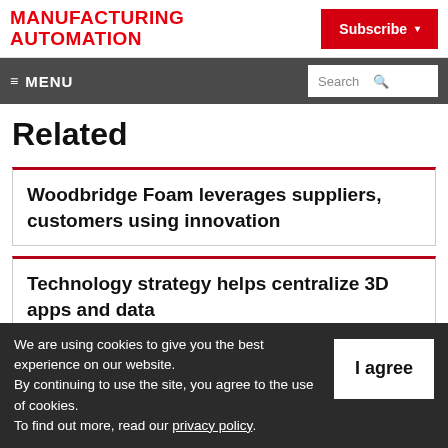MANUFACTURING AUTOMATION
Subscribe
MENU  Search
Related
Woodbridge Foam leverages suppliers, customers using innovation
Technology strategy helps centralize 3D apps and data
We are using cookies to give you the best experience on our website. By continuing to use the site, you agree to the use of cookies. To find out more, read our privacy policy.
I agree